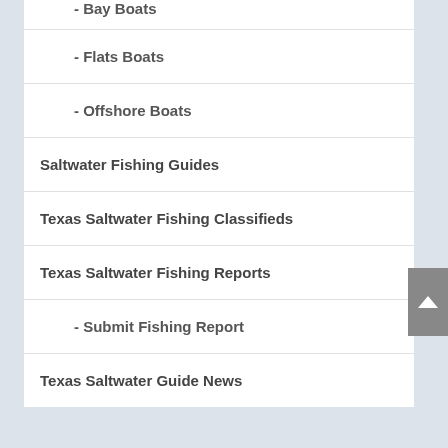- Bay Boats
- Flats Boats
- Offshore Boats
Saltwater Fishing Guides
Texas Saltwater Fishing Classifieds
Texas Saltwater Fishing Reports
- Submit Fishing Report
Texas Saltwater Guide News